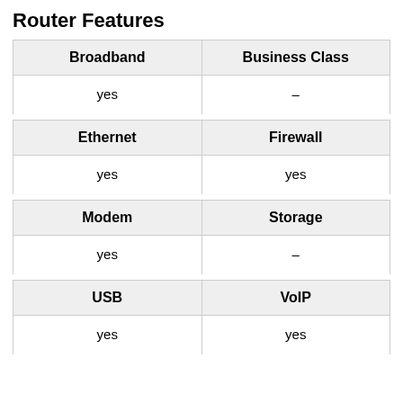Router Features
| Broadband | Business Class |
| --- | --- |
| yes | – |
| Ethernet | Firewall |
| yes | yes |
| Modem | Storage |
| yes | – |
| USB | VoIP |
| yes | yes |